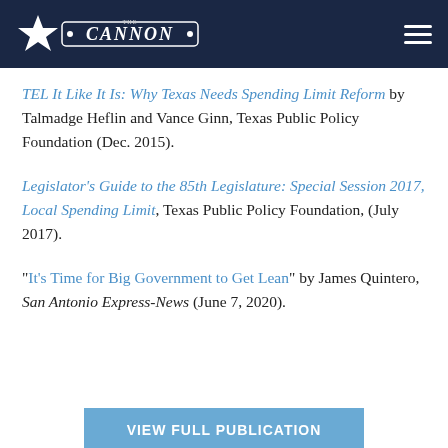Cannon — The Cannon (logo header)
TEL It Like It Is: Why Texas Needs Spending Limit Reform by Talmadge Heflin and Vance Ginn, Texas Public Policy Foundation (Dec. 2015).
Legislator's Guide to the 85th Legislature: Special Session 2017, Local Spending Limit, Texas Public Policy Foundation, (July 2017).
“It’s Time for Big Government to Get Lean” by James Quintero, San Antonio Express-News (June 7, 2020).
VIEW FULL PUBLICATION